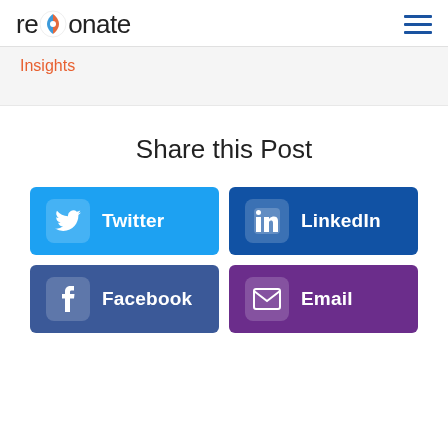resonate [logo] | hamburger menu
Insights
Share this Post
[Figure (infographic): Four social share buttons: Twitter (light blue), LinkedIn (dark blue), Facebook (medium blue), Email (purple), each with icon and label]